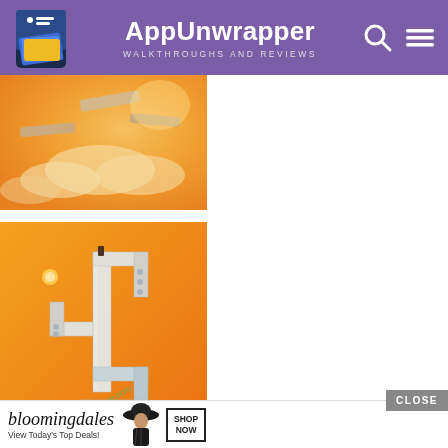AppUnwrapper — WALKTHROUGHS AND REVIEWS
[Figure (screenshot): Mobile game screenshot showing floating platforms in a warm sky with orange-yellow gradient and clouds]
[Figure (screenshot): Monument Valley-style mobile game screenshot with isometric white/grey geometric structures on orange background, small character on top]
[Figure (advertisement): Bloomingdale's advertisement: View Today's Top Deals with fashion model and SHOP NOW button]